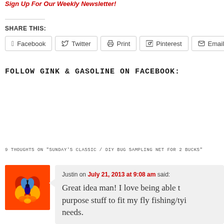Sign Up For Our Weekly Newsletter!
SHARE THIS:
Facebook  Twitter  Print  Pinterest  Email
FOLLOW GINK & GASOLINE ON FACEBOOK:
9 THOUGHTS ON "SUNDAY'S CLASSIC / DIY BUG SAMPLING NET FOR 2 BUCKS"
Justin on July 21, 2013 at 9:08 am said: Great idea man! I love being able to purpose stuff to fit my fly fishing/ty needs.